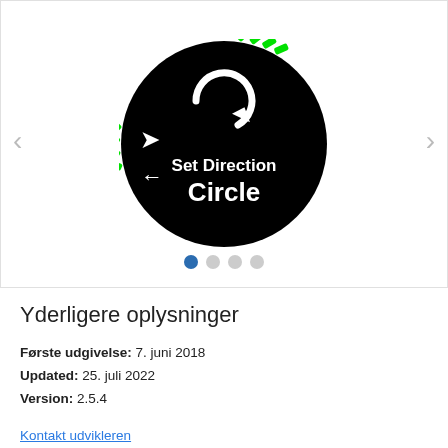[Figure (screenshot): A smartwatch face screenshot showing a circular dial on black background with green tick marks at top, white circular arrow icon, white directional arrows on the left side, and bold white text reading 'Set Direction Circle'. Navigation arrows and pagination dots are visible on the screenshot viewer.]
Yderligere oplysninger
Første udgivelse: 7. juni 2018
Updated: 25. juli 2022
Version: 2.5.4
Kontakt udvikleren